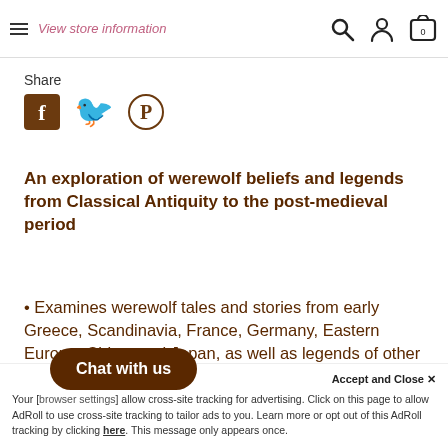View store information
Share
[Figure (illustration): Social media icons: Facebook, Twitter, Pinterest]
An exploration of werewolf beliefs and legends from Classical Antiquity to the post-medieval period
Examines werewolf tales and stories from early Greece, Scandinavia, France, Germany, Eastern Europe, China, and Japan, as well as legends of other shapeshifting creatures such as...
Chat with us
Accept and Close ✕
Your [browser settings] allow cross-site tracking for advertising. Click on this page to allow AdRoll to use cross-site tracking to tailor ads to you. Learn more or opt out of this AdRoll tracking by clicking here. This message only appears once.